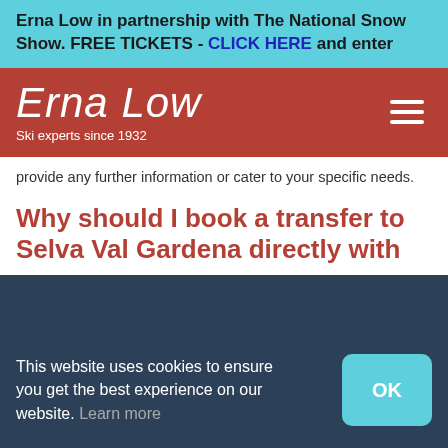Erna Low in partnership with The National Snow Show. FREE TICKETS - CLICK HERE and enter
[Figure (logo): Erna Low logo with cursive text and tagline 'Ski experts since 1932' on dark red background]
provide any further information or cater to your specific needs.
Why should I book a transfer to Selva Val Gardena directly with
This website uses cookies to ensure you get the best experience on our website. Learn more